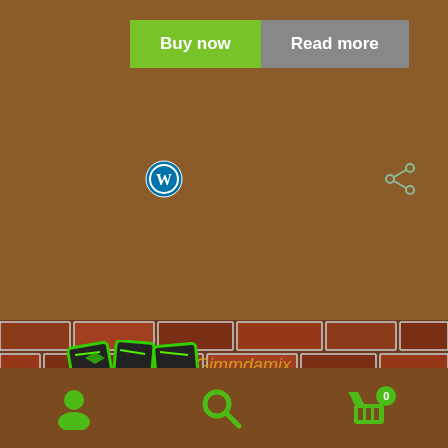[Figure (screenshot): A product card UI with Buy now (green) and Read more (grey) buttons on a brown background, with a WordPress icon and share icon]
Gimmdamix
[Figure (logo): Graffiti-style green and black logo/tag art]
[Figure (screenshot): Bottom navigation bar with user icon, search icon, and shopping cart icon with badge showing 0, on a brown background with green icons]